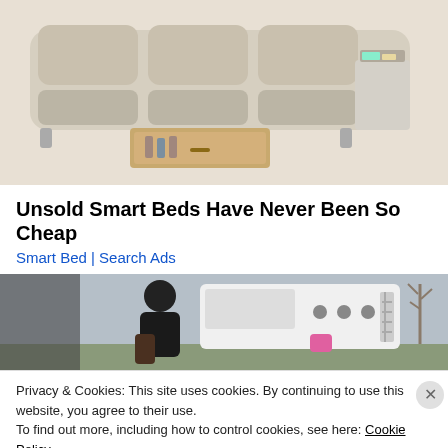[Figure (photo): Photo of a beige/cream sofa/bed with storage drawer pulled out underneath, showing bottles inside. Decorative items visible on top.]
Unsold Smart Beds Have Never Been So Cheap
Smart Bed | Search Ads
[Figure (photo): Photo of a person wearing dark clothing standing near a white vehicle or caravan, with countryside visible in background. A pink item is partially visible.]
Privacy & Cookies: This site uses cookies. By continuing to use this website, you agree to their use.
To find out more, including how to control cookies, see here: Cookie Policy